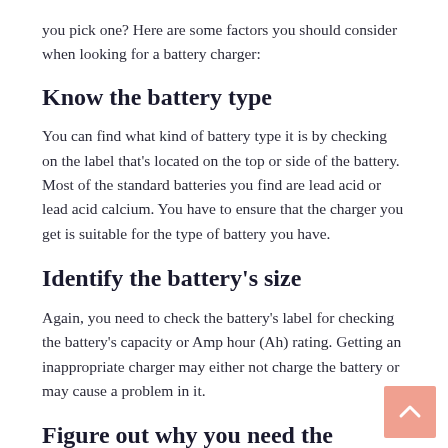you pick one? Here are some factors you should consider when looking for a battery charger:
Know the battery type
You can find what kind of battery type it is by checking on the label that's located on the top or side of the battery. Most of the standard batteries you find are lead acid or lead acid calcium. You have to ensure that the charger you get is suitable for the type of battery you have.
Identify the battery's size
Again, you need to check the battery's label for checking the battery's capacity or Amp hour (Ah) rating. Getting an inappropriate charger may either not charge the battery or may cause a problem in it.
Figure out why you need the charger
You need to understand the difference between battery maintenance and battery charging. The former is when you